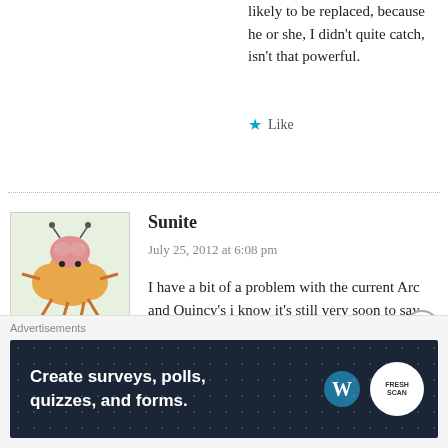likely to be replaced, because he or she, I didn't quite catch, isn't that powerful.
Like
Sunite
July 25, 2012 at 6:08 pm
I have a bit of a problem with the current Arc and Quincy's i know it's still very soon to say this because they're just fighting at this point… but there is a lack of emotional touch to this, for example, we've known the the Shinigami's for over 500 chapters with over 350 episodes so we care about
Advertisements
Create surveys, polls, quizzes, and forms.